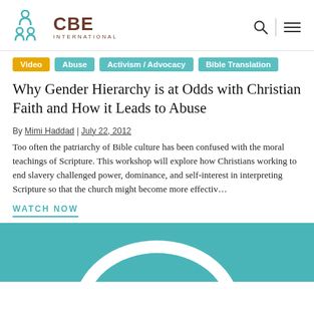CBE International
Video
Abuse
Activism / Advocacy
Bible Translation
Why Gender Hierarchy is at Odds with Christian Faith and How it Leads to Abuse
By Mimi Haddad | July 22, 2012
Too often the patriarchy of Bible culture has been confused with the moral teachings of Scripture. This workshop will explore how Christians working to end slavery challenged power, dominance, and self-interest in interpreting Scripture so that the church might become more effectiv…
WATCH NOW
[Figure (other): Teal/turquoise video thumbnail with a white arc/circle shape at the bottom, indicating a video player or logo graphic]